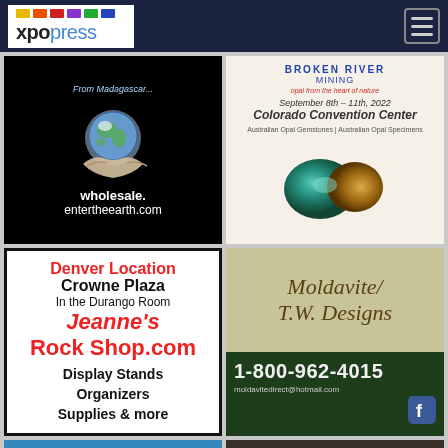xpopress
[Figure (illustration): Enter the Earth wholesale ad with globe graphic, text: From Madagascar, wholesale. entertheearth.com]
[Figure (illustration): Broken River Mining ad: September 8th-11th, 2022, Colorado Convention Center, Australian Opal Gemstones | Australian Opal Specimens]
[Figure (illustration): Jeanne's Rock Shop ad: Denver Location, Crowne Plaza, In the Durango Room, Jeanne's Rock Shop.com, Display Stands, Organizers, Supplies & more]
[Figure (illustration): Moldavite/T.W. Designs ad: 1-800-962-4015, moldavitedirect@hotmail.com]
[Figure (illustration): JGM Expo ad: Sept 9-17, Open to Public, Denver Show, Nine Days of World Class]
[Figure (illustration): Moussa Minerals & Fossils ad logo on textured background]